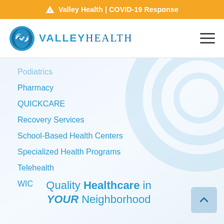⚠ Valley Health | COVID-19 Response
[Figure (logo): Valley Health logo with blue circular globe/checkmark icon and text VALLEYHEALTH]
Podiatrics
Pharmacy
QUICKCARE
Recovery Services
School-Based Health Centers
Specialized Health Programs
Telehealth
WIC
Quality Healthcare in YOUR Neighborhood